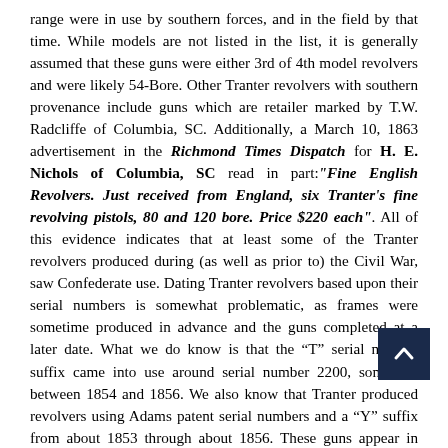range were in use by southern forces, and in the field by that time. While models are not listed in the list, it is generally assumed that these guns were either 3rd of 4th model revolvers and were likely 54-Bore. Other Tranter revolvers with southern provenance include guns which are retailer marked by T.W. Radcliffe of Columbia, SC. Additionally, a March 10, 1863 advertisement in the Richmond Times Dispatch for H. E. Nichols of Columbia, SC read in part: "Fine English Revolvers. Just received from England, six Tranter's fine revolving pistols, 80 and 120 bore. Price $220 each". All of this evidence indicates that at least some of the Tranter revolvers produced during (as well as prior to) the Civil War, saw Confederate use. Dating Tranter revolvers based upon their serial numbers is somewhat problematic, as frames were sometime produced in advance and the guns completed at a later date. What we do know is that the “T” serial number suffix came into use around serial number 2200, sometime between 1854 and 1856. We also know that Tranter produced revolvers using Adams patent serial numbers and a “Y” suffix from about 1853 through about 1856. These guns appear in several serial number ranges, as assigned by Adams, including the 2X,XXX range. These “Y” suffix guns predate the Civil War by at least four or five years. From extant examples of Tranters with specific presentations,